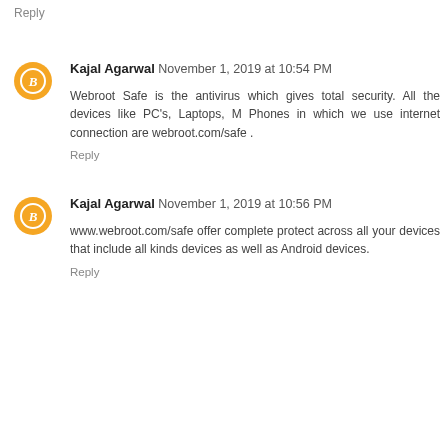Reply
Kajal Agarwal November 1, 2019 at 10:54 PM
Webroot Safe is the antivirus which gives total security. All the devices like PC's, Laptops, M... Phones in which we use internet connection are... webroot.com/safe .
Reply
Kajal Agarwal November 1, 2019 at 10:56 PM
www.webroot.com/safe offer complete protect... across all your devices that include all kinds... devices as well as Android devices.
Reply